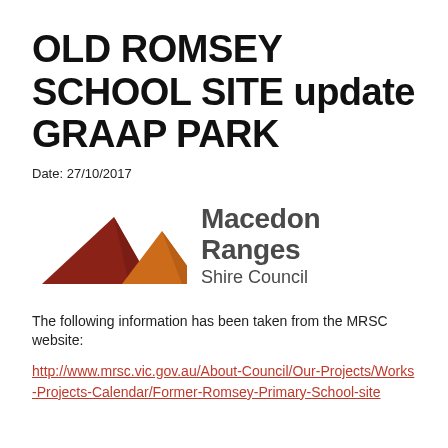OLD ROMSEY SCHOOL SITE update GRAAP PARK
Date: 27/10/2017
[Figure (logo): Macedon Ranges Shire Council logo with two mountain/hill shapes in dark red and orange, beside the text 'Macedon Ranges Shire Council']
The following information has been taken from the MRSC website:
http://www.mrsc.vic.gov.au/About-Council/Our-Projects/Works-Projects-Calendar/Former-Romsey-Primary-School-site